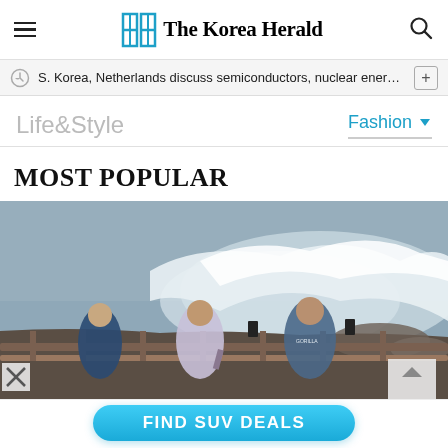The Korea Herald
S. Korea, Netherlands discuss semiconductors, nuclear energy co…
Life&Style
Fashion
MOST POPULAR
[Figure (photo): Three people photographing large crashing waves at a seaside railing on an overcast day]
[Figure (infographic): FIND SUV DEALS advertisement button in blue rounded rectangle]